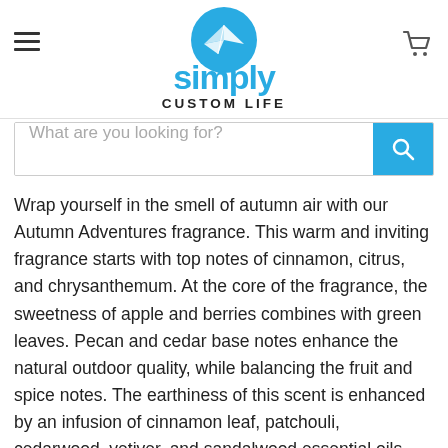[Figure (logo): Simply Custom Life logo with a paper airplane in a blue circle above stylized text 'simply CUSTOM LIFE']
What are you looking for?
Wrap yourself in the smell of autumn air with our Autumn Adventures fragrance. This warm and inviting fragrance starts with top notes of cinnamon, citrus, and chrysanthemum. At the core of the fragrance, the sweetness of apple and berries combines with green leaves. Pecan and cedar base notes enhance the natural outdoor quality, while balancing the fruit and spice notes. The earthiness of this scent is enhanced by an infusion of cinnamon leaf, patchouli, cedarwood, vetiver, and sandalwood essential oils.